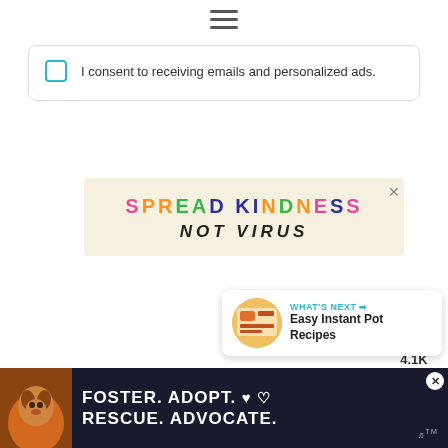[Figure (other): Hamburger menu icon (three horizontal lines) centered at top]
I consent to receiving emails and personalized ads.
[Figure (infographic): SPREAD KINDNESS NOT VIRUS banner on beige background with colorful letters]
[Figure (other): Heart/like button circle in teal with heart icon]
4.1K
[Figure (other): Share button circle with share icon]
[Figure (other): What's Next panel with thumbnail for Easy Instant Pot Recipes]
[Figure (other): Bottom ad banner: FOSTER. ADOPT. RESCUE. ADVOCATE. with dog image on dark background]